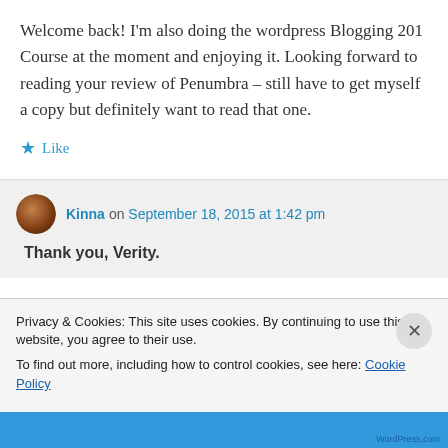Welcome back! I'm also doing the wordpress Blogging 201 Course at the moment and enjoying it. Looking forward to reading your review of Penumbra – still have to get myself a copy but definitely want to read that one.
★ Like
Kinna on September 18, 2015 at 1:42 pm
Thank you, Verity.
Privacy & Cookies: This site uses cookies. By continuing to use this website, you agree to their use.
To find out more, including how to control cookies, see here: Cookie Policy
Close and accept